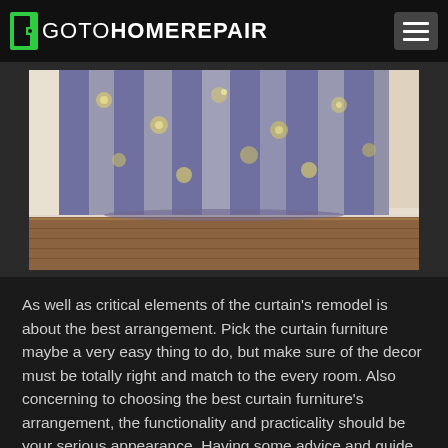GOTOHOMEREPAIR
[Figure (photo): Photo of gray floral patterned curtains hanging to the floor on a hardwood surface with a beige wall in the background]
As well as critical elements of the curtain's remodel is about the best arrangement. Pick the curtain furniture maybe a very easy thing to do, but make sure of the decor must be totally right and match to the every room. Also concerning to choosing the best curtain furniture's arrangement, the functionality and practicality should be your serious appearance. Having some advice and guide gives homeowners a good starting point for remodeling and designing their home, but some of them aren't functional for some spaces. So, better keep the simplicity and efficiently to make your curtain looks gorgeous.